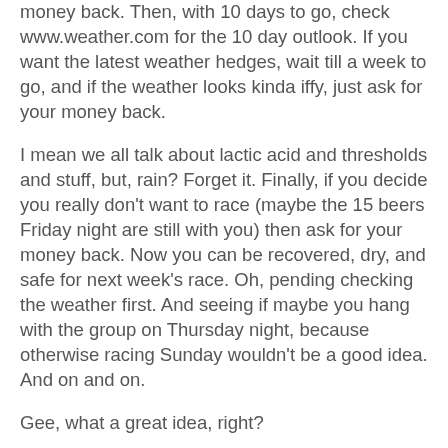money back. Then, with 10 days to go, check www.weather.com for the 10 day outlook. If you want the latest weather hedges, wait till a week to go, and if the weather looks kinda iffy, just ask for your money back.
I mean we all talk about lactic acid and thresholds and stuff, but, rain? Forget it. Finally, if you decide you really don't want to race (maybe the 15 beers Friday night are still with you) then ask for your money back. Now you can be recovered, dry, and safe for next week's race. Oh, pending checking the weather first. And seeing if maybe you hang with the group on Thursday night, because otherwise racing Sunday wouldn't be a good idea. And on and on.
Gee, what a great idea, right?
Wrong.
The reason it's not a great idea is that this policy hurts the promoters, especially the smaller ones with fixed costs that have to be paid out. Promoters need to line up things like portapotties, police, finishline cameras, pay for permits,